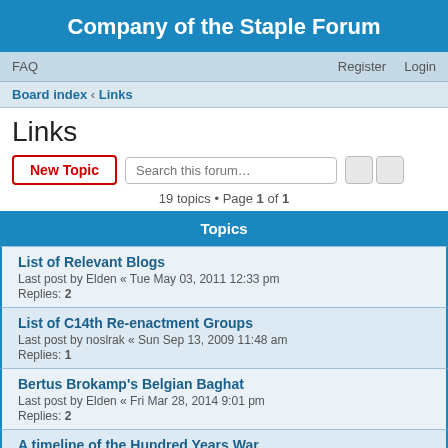Company of the Staple Forum
FAQ   Register   Login
Board index › Links
Links
19 topics • Page 1 of 1
Topics
List of Relevant Blogs
Last post by Elden « Tue May 03, 2011 12:33 pm
Replies: 2
List of C14th Re-enactment Groups
Last post by noslrak « Sun Sep 13, 2009 11:48 am
Replies: 1
Bertus Brokamp's Belgian Baghat
Last post by Elden « Fri Mar 28, 2014 9:01 pm
Replies: 2
A timeline of the Hundred Years War
Last post by Elden « Tue Aug 07, 2012 10:39 am
Staple In The Media
Last post by Hugh « Wed Jul 18, 2012 5:59 pm